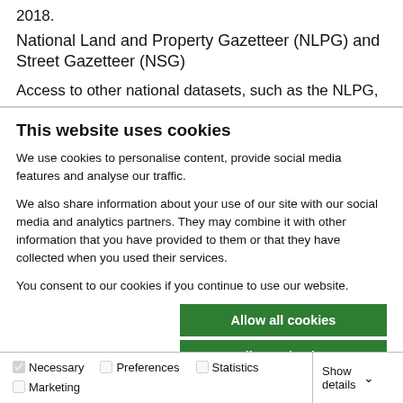2018.
National Land and Property Gazetteer (NLPG) and Street Gazetteer (NSG)
Access to other national datasets, such as the NLPG, which
This website uses cookies
We use cookies to personalise content, provide social media features and analyse our traffic.
We also share information about your use of our site with our social media and analytics partners. They may combine it with other information that you have provided to them or that they have collected when you used their services.
You consent to our cookies if you continue to use our website.
Allow all cookies
Allow selection
Use necessary cookies only
Necessary  Preferences  Statistics  Marketing  Show details